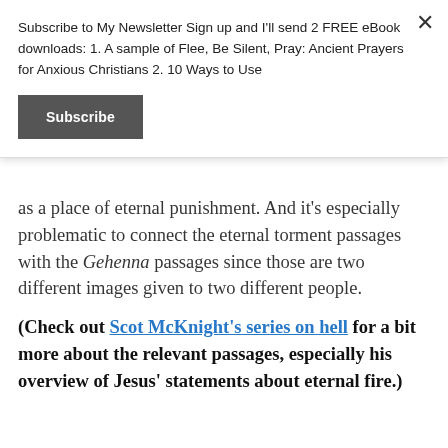Subscribe to My Newsletter Sign up and I'll send 2 FREE eBook downloads: 1. A sample of Flee, Be Silent, Pray: Ancient Prayers for Anxious Christians 2. 10 Ways to Use
Subscribe
as a place of eternal punishment. And it's especially problematic to connect the eternal torment passages with the Gehenna passages since those are two different images given to two different people.
(Check out Scot McKnight's series on hell for a bit more about the relevant passages, especially his overview of Jesus' statements about eternal fire.)